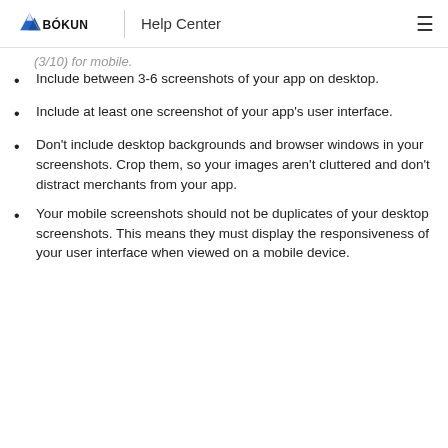BÓKUN | Help Center
(3/10) for mobile.
Include between 3-6 screenshots of your app on desktop.
Include at least one screenshot of your app's user interface.
Don't include desktop backgrounds and browser windows in your screenshots. Crop them, so your images aren't cluttered and don't distract merchants from your app.
Your mobile screenshots should not be duplicates of your desktop screenshots. This means they must display the responsiveness of your user interface when viewed on a mobile device.